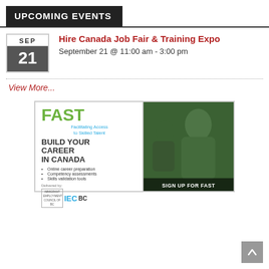UPCOMING EVENTS
Hire Canada Job Fair & Training Expo
September 21 @ 11:00 am - 3:00 pm
View More...
[Figure (infographic): FAST - Facilitating Access to Skilled Talent ad. Left panel: 'FAST' in green, 'Facilitating Access to Skilled Talent' subtitle in blue, 'BUILD YOUR CAREER IN CANADA' in large text, bullet list: Online career preparation, Competency assessments, Skills validation tools. Delivered by IEC BC logo. Right panel: green-tinted photo of a smiling woman with 'SIGN UP FOR FAST' text at bottom.]